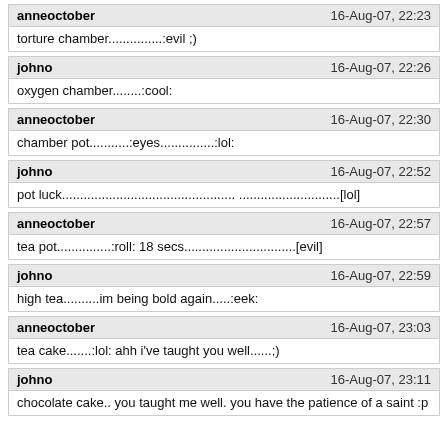anneoctober | 16-Aug-07, 22:23
torture chamber...............:evil ;)
johno | 16-Aug-07, 22:26
oxygen chamber........:cool:
anneoctober | 16-Aug-07, 22:30
chamber pot...........:eyes...............:lol:
johno | 16-Aug-07, 22:52
pot luck................................................ ............................[lol]
anneoctober | 16-Aug-07, 22:57
tea pot...............:roll: 18 secs...............................[evil]
johno | 16-Aug-07, 22:59
high tea..........im being bold again.....:eek:
anneoctober | 16-Aug-07, 23:03
tea cake.......:lol: ahh i've taught you well......;)
johno | 16-Aug-07, 23:11
chocolate cake.. you taught me well. you have the patience of a saint :p